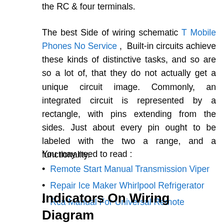the RC & four terminals.
The best Side of wiring schematic T Mobile Phones No Service , Built-in circuits achieve these kinds of distinctive tasks, and so are so a lot of, that they do not actually get a unique circuit image. Commonly, an integrated circuit is represented by a rectangle, with pins extending from the sides. Just about every pin ought to be labeled with the two a range, and a functionality.
You may need to read :
Remote Start Manual Transmission Viper
Repair Ice Maker Whirlpool Refrigerator
Rca Manual For Universal Remote
Indicators On Wiring Diagram